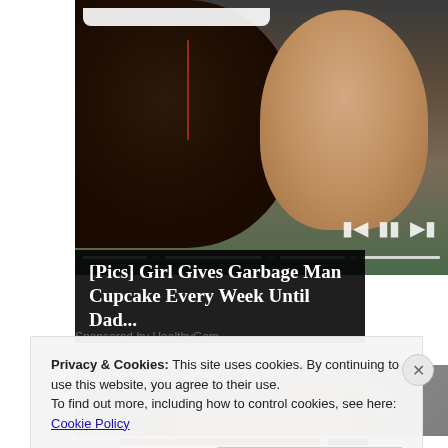[Figure (photo): A man with a beard smiling broadly and a young toddler girl with light hair, both facing the camera. Media player controls (skip back, pause, skip forward) and a progress bar are visible at the bottom of the image.]
[Pics] Girl Gives Garbage Man Cupcake Every Week Until Dad...
Sponsored by HealthyGem
[Figure (photo): A woman with light brown hair, partially visible, photographed from above with a blurred background.]
Privacy & Cookies: This site uses cookies. By continuing to use this website, you agree to their use.
To find out more, including how to control cookies, see here:
Cookie Policy
Close and accept